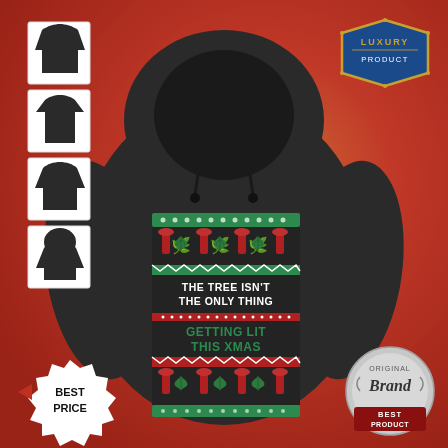[Figure (photo): Product photo of a dark charcoal/black hoodie with an ugly Christmas sweater design. The design features cannabis leaf motifs and red bong shapes in a traditional ugly sweater pattern with the text 'THE TREE ISN'T THE ONLY THING GETTING LIT THIS XMAS'. Background is a red/orange textured surface. Left side shows 4 small thumbnail views of the hoodie in different styles. Upper right has a 'Luxury Product' badge. Lower left has 'Best Price' badge. Lower right has 'Original Brand Best Product' badge.]